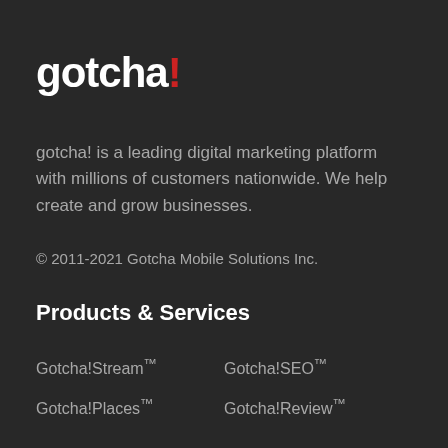gotcha!
gotcha! is a leading digital marketing platform with millions of customers nationwide. We help create and grow businesses.
© 2011-2021 Gotcha Mobile Solutions Inc.
Products & Services
Gotcha!Stream™
Gotcha!SEO™
Gotcha!Places™
Gotcha!Review™